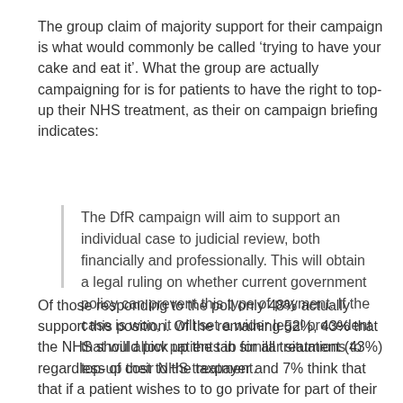The group claim of majority support for their campaign is what would commonly be called ‘trying to have your cake and eat it’. What the group are actually campaigning for is for patients to have the right to top-up their NHS treatment, as their on campaign briefing indicates:
The DfR campaign will aim to support an individual case to judicial review, both financially and professionally. This will obtain a legal ruling on whether current government policy can prevent this type of payment. If the case is won, it will set a wider legal precedent that will allow patients in similar situations to top-up their NHS treatment.
Of those responding to the poll only 48% actually support this position. Of the remaining 52%, 43% that the NHS should pick up the tab for all treatment (43%) regardless of cost to the taxpayer and 7% think that that if a patient wishes to to go private for part of their treatment they